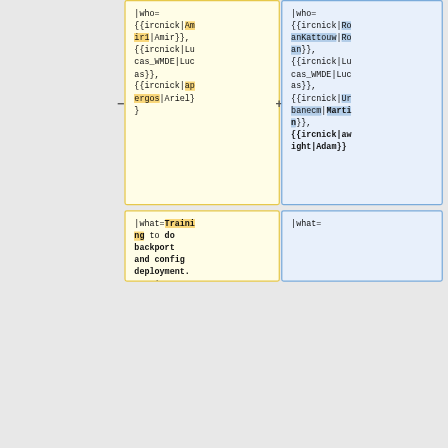|who= {{ircnick|Amir1|Amir}}, {{ircnick|Lucas_WMDE|Lucas}}, {{ircnick|apergos|Ariel}}
|who= {{ircnick|RoanKattouw|Roan}}, {{ircnick|Lucas_WMDE|Lucas}}, {{ircnick|Urbanecm|Martin}}, {{ircnick|awright|Adam}}
|what=Training to do backport and config deployment. To sign up for deployment
|what=